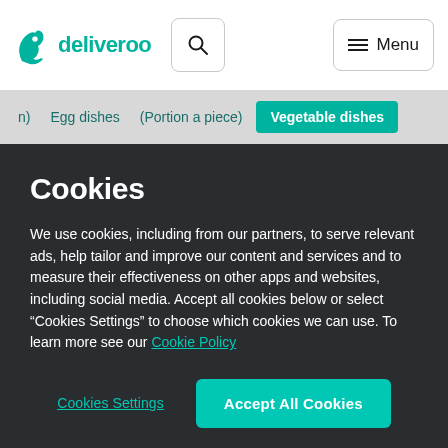[Figure (logo): Deliveroo logo with teal kangaroo icon and text 'deliveroo']
Egg dishes   (Portion a piece)   Vegetable dishes
Cookies
We use cookies, including from our partners, to serve relevant ads, help tailor and improve our content and services and to measure their effectiveness on other apps and websites, including social media. Accept all cookies below or select “Cookies Settings” to choose which cookies we can use. To learn more see our Cookie Policy
Cookies Settings
Accept All Cookies